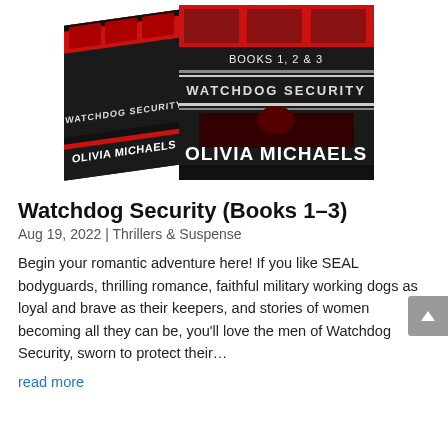[Figure (photo): Box set of book covers for Watchdog Security Books 1, 2 & 3 by Olivia Michaels. Dark black and red covers with the series title and author name. Shown as a 3D box set at an angle.]
Watchdog Security (Books 1–3)
Aug 19, 2022 | Thrillers & Suspense
Begin your romantic adventure here! If you like SEAL bodyguards, thrilling romance, faithful military working dogs as loyal and brave as their keepers, and stories of women becoming all they can be, you'll love the men of Watchdog Security, sworn to protect their…
read more